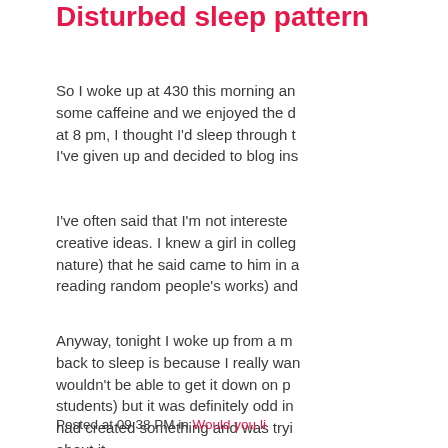Disturbed sleep pattern
So I woke up at 430 this morning an... some caffeine and we enjoyed the d... at 8 pm, I thought I'd sleep through t... I've given up and decided to blog ins...
I've often said that I'm not intereste... creative ideas. I knew a girl in colleg... nature) that he said came to him in a... reading random people's works) and...
Anyway, tonight I woke up from a m... back to sleep is because I really wan... wouldn't be able to get it down on p... students) but it was definitely odd in... had created something and was tryi... about it.
Oh well. Not really much else intere... Luckily, we have caffeine in life. And...
Posted at 09:38 PM in Would you li...